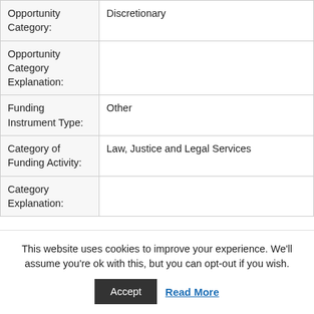| Field | Value |
| --- | --- |
| Opportunity Category: | Discretionary |
| Opportunity Category Explanation: |  |
| Funding Instrument Type: | Other |
| Category of Funding Activity: | Law, Justice and Legal Services |
| Category Explanation: |  |
This website uses cookies to improve your experience. We'll assume you're ok with this, but you can opt-out if you wish.